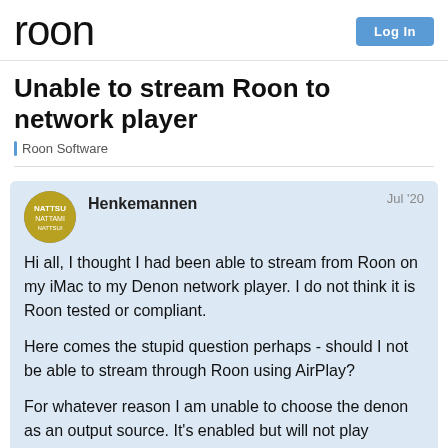roon | Log In
Unable to stream Roon to network player
Roon Software
Henkemannen  Jul '20
Hi all, I thought I had been able to stream from Roon on my iMac to my Denon network player. I do not think it is Roon tested or compliant.

Here comes the stupid question perhaps - should I not be able to stream through Roon using AirPlay?

For whatever reason I am unable to choose the denon as an output source. It's enabled but will not play anything.

I can stream to it from iTunes using airplay
1 / 13